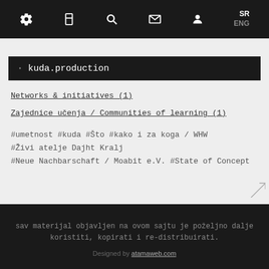Navigation bar with icons: settings, bookmark, search, mail, user, SR / ENG language toggle
kuda.production
Networks & initiatives (1)
Zajednice učenja / Communities of learning (1)
#umetnost #kuda #Što #kako i za koga / WHW #Živi atelje Dajht Kralj #Neue Nachbarschaft / Moabit e.V. #State of Concept
sav materijal objavljen na ovom sajtu je poželjno dalje koristiti, kopirati i re-distribuirati.
Designed by atamaweb.com